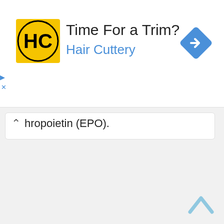[Figure (screenshot): Hair Cuttery advertisement banner. Yellow square logo with HC letters, text 'Time For a Trim?' and 'Hair Cuttery' in blue, with a blue navigation diamond icon on the right.]
hropoietin (EPO).